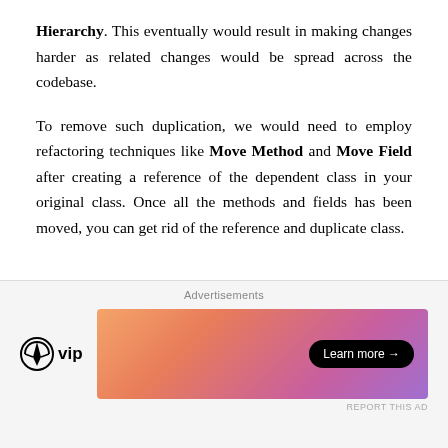Hierarchy. This eventually would result in making changes harder as related changes would be spread across the codebase.
To remove such duplication, we would need to employ refactoring techniques like Move Method and Move Field after creating a reference of the dependent class in your original class. Once all the methods and fields has been moved, you can get rid of the reference and duplicate class.
Share this:
[Figure (other): Advertisement overlay with WordPress VIP logo and a colorful gradient banner with a Learn more button]